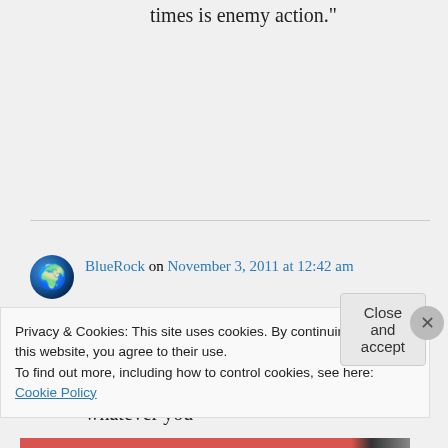times is enemy action.”
BlueRock on November 3, 2011 at 12:42 am
👍 0 👎 0 ℹ Rate This
So, for you, ‘standard of living’ = doing whatever you
Privacy & Cookies: This site uses cookies. By continuing to use this website, you agree to their use.
To find out more, including how to control cookies, see here: Cookie Policy